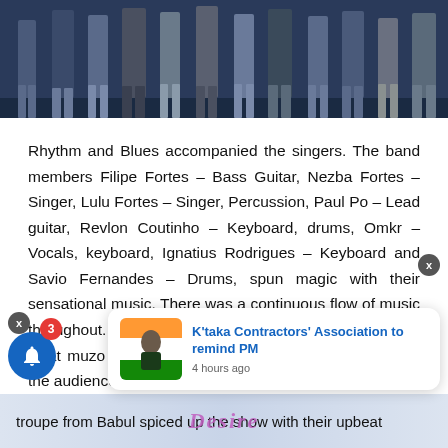[Figure (photo): Group of people standing on a stage, lower half visible showing legs and feet, dark blue background]
Rhythm and Blues accompanied the singers. The band members Filipe Fortes – Bass Guitar, Nezba Fortes – Singer, Lulu Fortes – Singer, Percussion, Paul Po – Lead guitar, Revlon Coutinho – Keyboard, drums, Omkr – Vocals, keyboard, Ignatius Rodrigues – Keyboard and Savio Fernandes – Drums, spun magic with their sensational music. There was a continuous flow of music throughout. They began withKonthar korun, fotkiro mog, aikat muzo talo, sorga razanth and tuzo mog attracting the audience to the floor.
[Figure (screenshot): Notification popup card showing K'taka Contractors' Association to remind PM, 4 hours ago, with thumbnail of a person in Indian flag background]
troupe from Babul spiced up the show with their upbeat